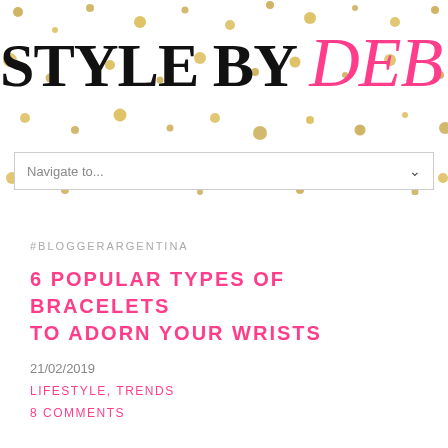[Figure (logo): Style By Deb blog logo — black serif uppercase 'STYLE BY' followed by pink cursive 'Deb' on a white background with scattered gold polka dots]
Navigate to...
#BLOGGERARGENTINA
6 POPULAR TYPES OF BRACELETS TO ADORN YOUR WRISTS
21/02/2019
LIFESTYLE, TRENDS
8 COMMENTS